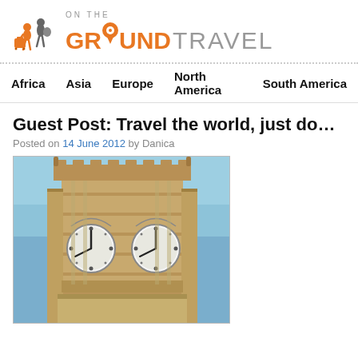[Figure (logo): On The Ground Travel logo with orange figure carrying luggage and text 'ON THE GROUND TRAVEL']
Africa   Asia   Europe   North America   South America
Guest Post: Travel the world, just don't get scammed
Posted on 14 June 2012 by Danica
[Figure (photo): Close-up photo of Big Ben clock tower in London against a blue sky, showing ornate Gothic stonework and two large clock faces]